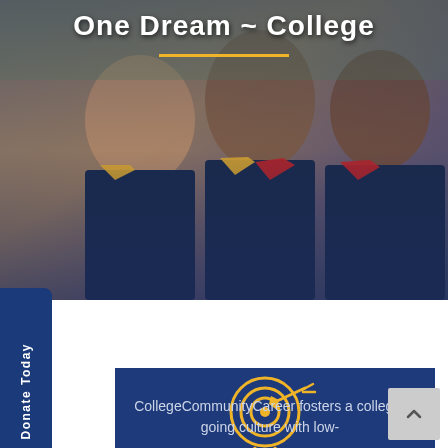[Figure (photo): Hero banner showing graduates in graduation gowns with gold and red stoles, smiling]
One Dream ~ College
[Figure (infographic): Blue vertical 'Donate Today' tab with heart icon on left side]
[Figure (illustration): Gold target/bullseye icon with arrow]
Mission
CollegeCommunityCareer fosters a college-going culture with low-